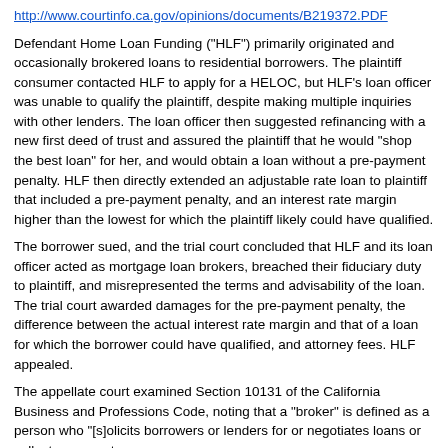http://www.courtinfo.ca.gov/opinions/documents/B219372.PDF
Defendant Home Loan Funding ("HLF") primarily originated and occasionally brokered loans to residential borrowers. The plaintiff consumer contacted HLF to apply for a HELOC, but HLF's loan officer was unable to qualify the plaintiff, despite making multiple inquiries with other lenders. The loan officer then suggested refinancing with a new first deed of trust and assured the plaintiff that he would "shop the best loan" for her, and would obtain a loan without a pre-payment penalty. HLF then directly extended an adjustable rate loan to plaintiff that included a pre-payment penalty, and an interest rate margin higher than the lowest for which the plaintiff likely could have qualified.
The borrower sued, and the trial court concluded that HLF and its loan officer acted as mortgage loan brokers, breached their fiduciary duty to plaintiff, and misrepresented the terms and advisability of the loan. The trial court awarded damages for the pre-payment penalty, the difference between the actual interest rate margin and that of a loan for which the borrower could have qualified, and attorney fees. HLF appealed.
The appellate court examined Section 10131 of the California Business and Professions Code, noting that a "broker" is defined as a person who "[s]olicits borrowers or lenders for or negotiates loans or collects payments